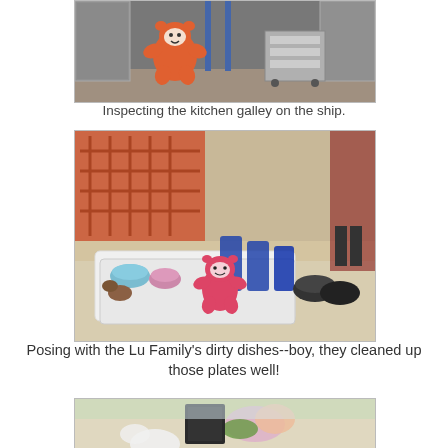[Figure (photo): A stuffed orange star-shaped bear toy standing in a ship kitchen galley with stainless steel equipment and carts in the background.]
Inspecting the kitchen galley on the ship.
[Figure (photo): A stuffed red/pink star-shaped bear toy posing among trays of dirty dishes, blue glasses, and bowls on a cafeteria table with colorful artwork in the background.]
Posing with the Lu Family's dirty dishes--boy, they cleaned up those plates well!
[Figure (photo): Partial view of a restaurant table with flowers, a menu, and stuffed toy visible at bottom of frame.]